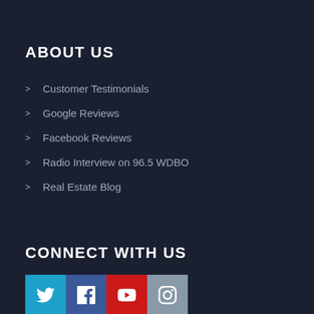ABOUT US
Customer Testimonials
Google Reviews
Facebook Reviews
Radio Interview on 96.5 WDBO
Real Estate Blog
CONNECT WITH US
[Figure (infographic): Social media icon buttons: Twitter (blue), Facebook (dark blue), YouTube (red), Instagram (grey-blue)]